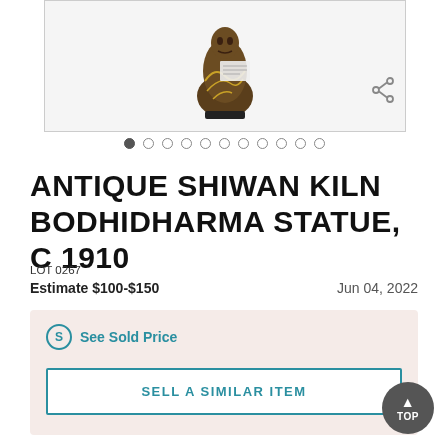[Figure (photo): Antique Shiwan Kiln Bodhidharma statue photograph shown in an image carousel with navigation dots]
ANTIQUE SHIWAN KILN BODHIDHARMA STATUE, C 1910
LOT 0267
Estimate $100-$150    Jun 04, 2022
See Sold Price
SELL A SIMILAR ITEM